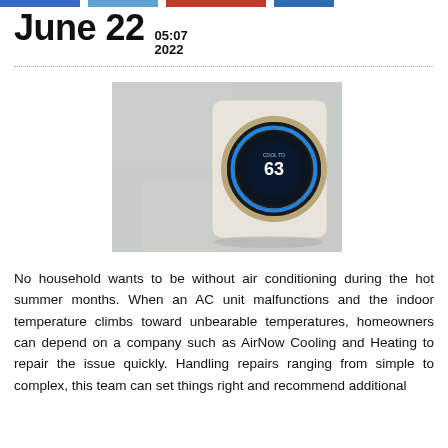June 22  05:07 2022
[Figure (photo): A smart thermostat (showing 63) mounted on a white textured wall, with a circular black and gold design and a blue glowing ring around the display.]
No household wants to be without air conditioning during the hot summer months. When an AC unit malfunctions and the indoor temperature climbs toward unbearable temperatures, homeowners can depend on a company such as AirNow Cooling and Heating to repair the issue quickly. Handling repairs ranging from simple to complex, this team can set things right and recommend additional